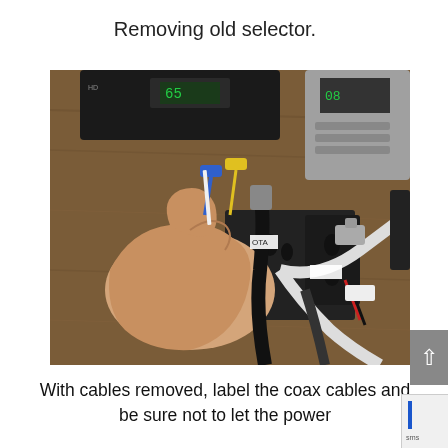Removing old selector.
[Figure (photo): A hand holding blue and yellow wire connectors being removed from a device, with coax cables and electrical outlet visible on a wooden surface. Electronic devices visible in background.]
With cables removed, label the coax cables and be sure not to let the power